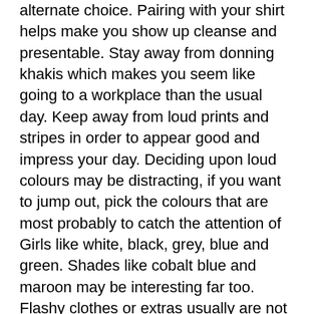alternate choice. Pairing with your shirt helps make you show up cleanse and presentable. Stay away from donning khakis which makes you seem like going to a workplace than the usual day. Keep away from loud prints and stripes in order to appear good and impress your day. Deciding upon loud colours may be distracting, if you want to jump out, pick the colours that are most probably to catch the attention of Girls like white, black, grey, blue and green. Shades like cobalt blue and maroon may be interesting far too. Flashy clothes or extras usually are not suitable for a day since it will draw the eye far from you.
Certainly will not forget about your hygiene. Pay attention for your footwear, have your sneakers polished to create them seem cleanse and wear the appropriate socks. Set focus for your hair, your fingernails and nose hairs. If at any time you end up carrying the incorrect outfit on your day, chill out and